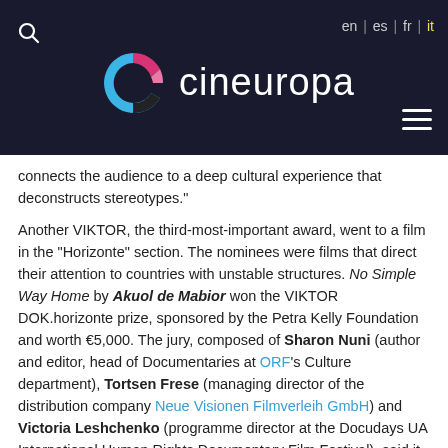cineuropa | en | es | fr | it
connects the audience to a deep cultural experience that deconstructs stereotypes."
Another VIKTOR, the third-most-important award, went to a film in the “Horizonte” section. The nominees were films that direct their attention to countries with unstable structures. No Simple Way Home by Akuol de Mabior won the VIKTOR DOK.horizonte prize, sponsored by the Petra Kelly Foundation and worth €5,000. The jury, composed of Sharon Nuni (author and editor, head of Documentaries at ORF’s Culture department), Tortsen Frese (managing director of the distribution company Neue Visionen Filmverleih GmbH) and Victoria Leshchenko (programme director at the Docudays UA International Human Rights Documentary Film Festival), said it was particularly inspired by the positive and pragmatic nature of the protagonist, who faces up to her duty against all odds. The film tells the story of South Sudan’s political leadership in a very direct and intimate way and, at the same time, is the chronicle of a family with a strong mother-daughter relationship.
Here is the complete list of award winners at this year's DOK.fest Munich: